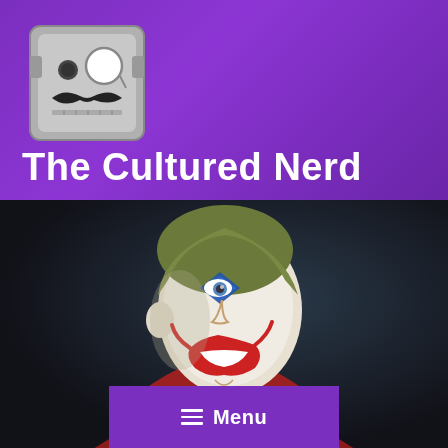[Figure (logo): Robot/nerd mascot logo with monocle and mustache in gray square style]
The Cultured Nerd
[Figure (photo): Joaquin Phoenix as the Joker character, wearing red jacket, with clown makeup including blue diamond around eye and red lips, looking over shoulder against dark background]
Menu